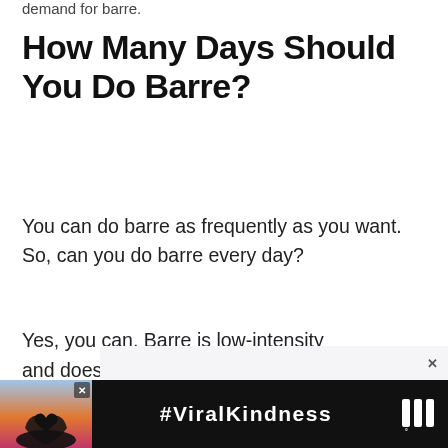demand for barre.
How Many Days Should You Do Barre?
You can do barre as frequently as you want. So, can you do barre every day?
Yes, you can. Barre is low-intensity and doesn’t impact negatively on your joints and muscles, hence suitable for daily exercise.
[Figure (screenshot): Social sharing buttons: heart (like) button in blue circle and share button in white circle]
[Figure (screenshot): What's Next widget showing 'All About Peloton Dan...' with thumbnail image]
[Figure (screenshot): Advertisement banner showing #ViralKindness with heart hands silhouette against sunset, close button X, and media logo]